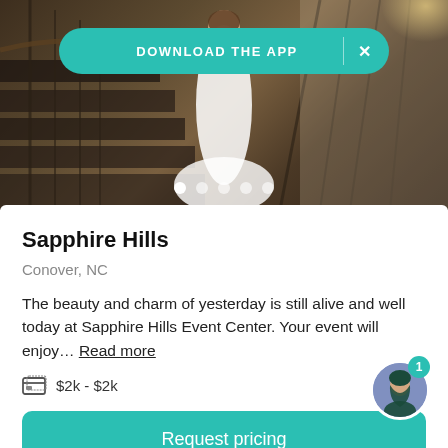[Figure (photo): Venue photo of Sapphire Hills showing a bride in a white dress on an ornate staircase with wrought iron railing and warm lighting]
DOWNLOAD THE APP
Sapphire Hills
Conover, NC
The beauty and charm of yesterday is still alive and well today at Sapphire Hills Event Center. Your event will enjoy… Read more
$2k - $2k
Request pricing